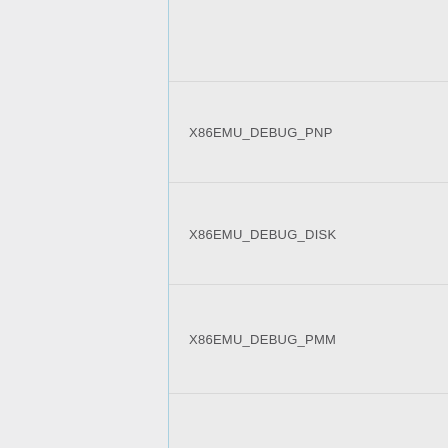X86EMU_DEBUG_PNP
X86EMU_DEBUG_DISK
X86EMU_DEBUG_PMM